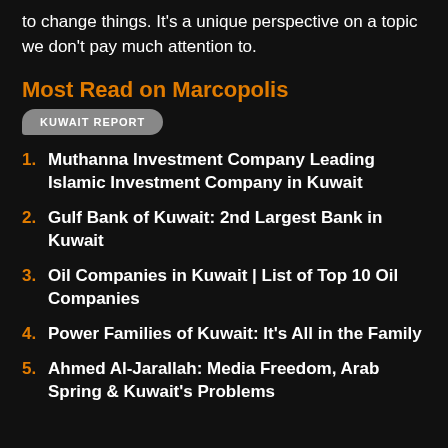to change things. It's a unique perspective on a topic we don't pay much attention to.
Most Read on Marcopolis
[Figure (other): Speech bubble badge with text 'KUWAIT REPORT']
1. Muthanna Investment Company Leading Islamic Investment Company in Kuwait
2. Gulf Bank of Kuwait: 2nd Largest Bank in Kuwait
3. Oil Companies in Kuwait | List of Top 10 Oil Companies
4. Power Families of Kuwait: It's All in the Family
5. Ahmed Al-Jarallah: Media Freedom, Arab Spring & Kuwait's Problems